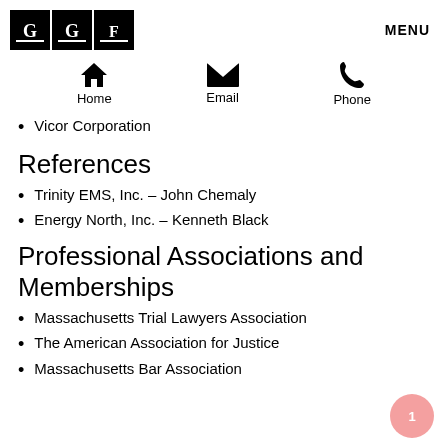[Figure (logo): GGF logo consisting of three black squares with stylized letter icons]
MENU
[Figure (infographic): Navigation icons: Home (house icon), Email (envelope icon), Phone (handset icon)]
Vicor Corporation
References
Trinity EMS, Inc. – John Chemaly
Energy North, Inc. – Kenneth Black
Professional Associations and Memberships
Massachusetts Trial Lawyers Association
The American Association for Justice
Massachusetts Bar Association